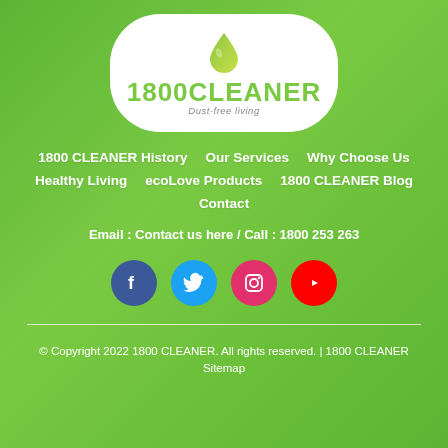[Figure (logo): 1800 CLEANER logo with green water drop and tagline 'Dust-free living' on white rounded rectangle background]
1800 CLEANER History
Our Services
Why Choose Us
Healthy Living
ecoLove Products
1800 CLEANER Blog
Contact
Email : Contact us here / Call : 1800 253 263
[Figure (illustration): Social media icons row: Facebook, Twitter, Instagram, YouTube]
© Copyright 2022 1800 CLEANER. All rights reserved. | 1800 CLEANER Sitemap